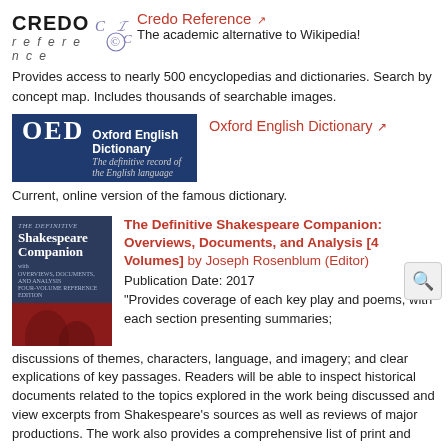[Figure (logo): Credo Reference logo with 'CREDO reference' text and decorative C/E symbol]
Credo Reference ↗
The academic alternative to Wikipedia!
Provides access to nearly 500 encyclopedias and dictionaries. Search by concept map. Includes thousands of searchable images.
[Figure (logo): Oxford English Dictionary logo — dark blue box with OED in large white letters and 'Oxford English Dictionary / The definitive record of the English language']
Oxford English Dictionary ↗
Current, online version of the famous dictionary.
[Figure (illustration): Book cover of The Definitive Shakespeare Companion: dark blue top section with title, red bottom section with image of figures]
The Definitive Shakespeare Companion: Overviews, Documents, and Analysis [4 Volumes] by Joseph Rosenblum (Editor)
Publication Date: 2017
"Provides coverage of each key play and poems, with each section presenting summaries; discussions of themes, characters, language, and imagery; and clear explications of key passages. Readers will be able to inspect historical documents related to the topics explored in the work being discussed and view excerpts from Shakespeare's sources as well as reviews of major productions. The work also provides a comprehensive list of print and electronic resources suitable for student research."